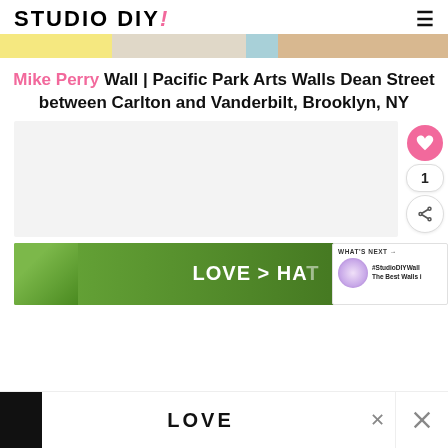STUDIO DIY!
[Figure (photo): Top cropped image showing colorful mural detail with yellow wave patterns and a person]
Mike Perry Wall | Pacific Park Arts Walls Dean Street between Carlton and Vanderbilt, Brooklyn, NY
[Figure (photo): Gray placeholder content area with sidebar heart/share buttons]
[Figure (photo): Ad banner showing hands making heart shape with text LOVE > HATE]
[Figure (photo): Bottom ad bar showing decorative LOVE text logo in black and white]